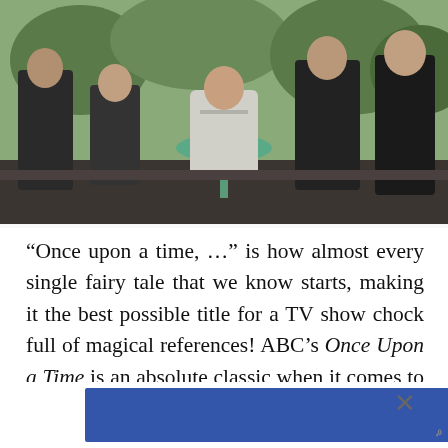[Figure (photo): Group of TV show cast members standing outdoors around a small round green table. Several people in dark coats surround a woman in a white jacket seated at the table.]
“Once upon a time, …” is how almost every single fairy tale that we know starts, making it the best possible title for a TV show chock full of magical references! ABC’s Once Upon a Time is an absolute classic when it comes to the creative use of fairy tales as a basis its characters. Yes, the show is less about modern ings of the stories we know and instead, features a GIANT pool of these stories’ characters.